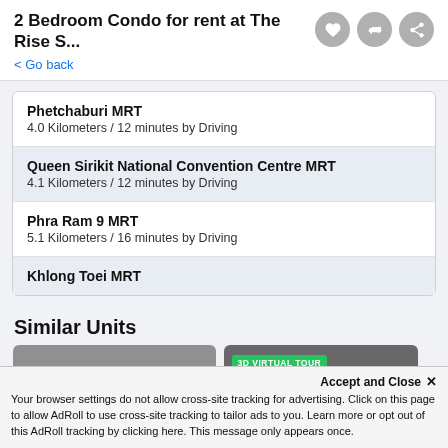2 Bedroom Condo for rent at The Rise S...
< Go back
Phetchaburi MRT
4.0 Kilometers / 12 minutes by Driving
Queen Sirikit National Convention Centre MRT
4.1 Kilometers / 12 minutes by Driving
Phra Ram 9 MRT
5.1 Kilometers / 16 minutes by Driving
Khlong Toei MRT
Similar Units
[Figure (photo): Two property listing thumbnail images side by side. Left image shows an interior/exterior view. Right image has a green '3D VIRTUAL TOUR' badge overlay.]
Accept and Close ✕
Your browser settings do not allow cross-site tracking for advertising. Click on this page to allow AdRoll to use cross-site tracking to tailor ads to you. Learn more or opt out of this AdRoll tracking by clicking here. This message only appears once.